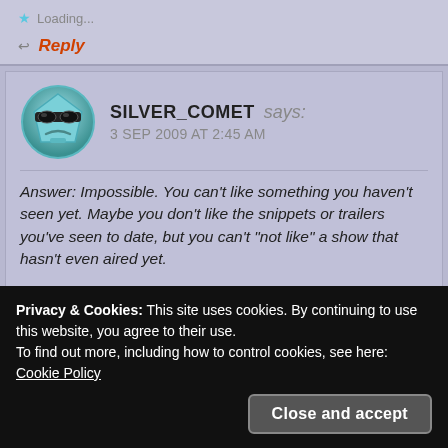Loading...
Reply
SILVER_COMET says:
3 SEP 2009 AT 2:45 AM
Answer: Impossible. You can’t like something you haven’t seen yet. Maybe you don’t like the snippets or trailers you’ve seen to date, but you can’t “not like” a show that hasn’t even aired yet.
Hey, why did you pick me for the mailbag? I didn’t even
Privacy & Cookies: This site uses cookies. By continuing to use this website, you agree to their use.
To find out more, including how to control cookies, see here: Cookie Policy
Close and accept